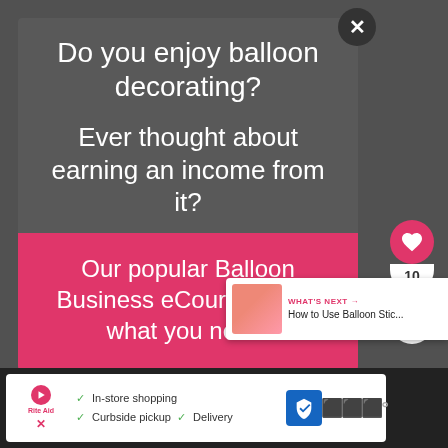Do you enjoy balloon decorating?
Ever thought about earning an income from it?
Our popular Balloon Business eCourse is just what you need!
WHAT'S NEXT → How to Use Balloon Stic...
In-store shopping  Curbside pickup  Delivery